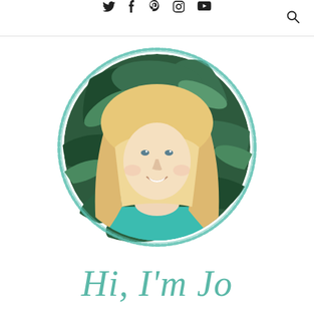Social media icons: Twitter, Facebook, Pinterest, Instagram, YouTube; Search icon
[Figure (photo): Circular profile photo of a blonde woman in a teal/turquoise top, smiling, with green foliage background, framed with a hand-drawn teal circle border]
Hi, I'm Jo